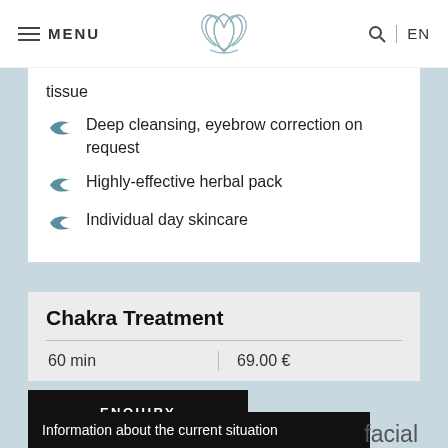MENU | [lotus logo] | EN
tissue
Deep cleansing, eyebrow correction on request
Highly-effective herbal pack
Individual day skincare
Chakra Treatment
| Duration | Price |
| --- | --- |
| 60 min | 69.00 € |
ENQUIRY
Information about the current situation
facial